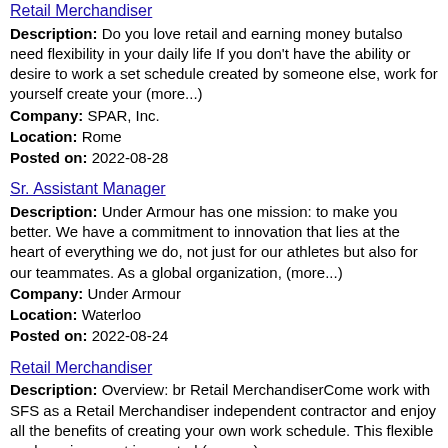Retail Merchandiser
Description: Do you love retail and earning money butalso need flexibility in your daily life If you don't have the ability or desire to work a set schedule created by someone else, work for yourself create your (more...)
Company: SPAR, Inc.
Location: Rome
Posted on: 2022-08-28
Sr. Assistant Manager
Description: Under Armour has one mission: to make you better. We have a commitment to innovation that lies at the heart of everything we do, not just for our athletes but also for our teammates. As a global organization, (more...)
Company: Under Armour
Location: Waterloo
Posted on: 2022-08-24
Retail Merchandiser
Description: Overview: br Retail MerchandiserCome work with SFS as a Retail Merchandiser independent contractor and enjoy all the benefits of creating your own work schedule. This flexible work environment is created (more...)
Company: SFS, Inc.
Location: Ithaca
Posted on: 2022-08-26
Retail Merchandiser